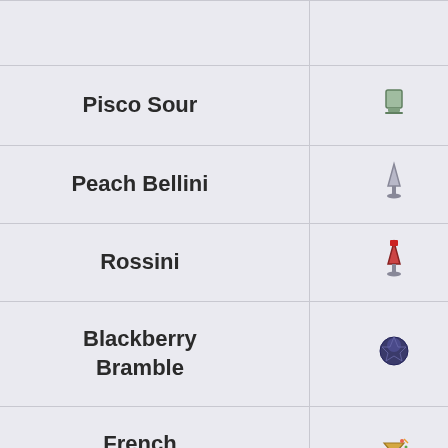| Name | Icon | Value |
| --- | --- | --- |
| Pisco Sour | 🥃 | 0.4 |
| Peach Bellini | 🥂 | 0.1 |
| Rossini | 🍹 | 0.1 |
| Blackberry Bramble | 🫐 | 0.1 |
| French Martini | 🍸 | 0.1 |
| Jazzberry Hard Lemonade | 🥤 | 0.1 |